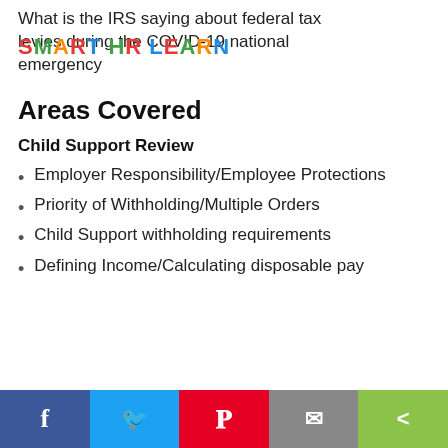What is the IRS saying about federal tax levies during the COVID-19 national emergency
Areas Covered
Child Support Review
Employer Responsibility/Employee Protections
Priority of Withholding/Multiple Orders
Child Support withholding requirements
Defining Income/Calculating disposable pay
Social share bar: Facebook, Twitter, Pinterest, Email, Share